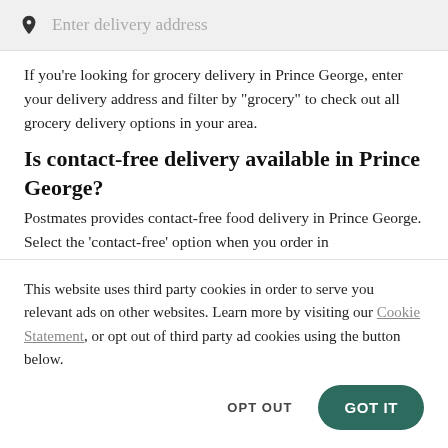[Figure (screenshot): Search bar with pin/location icon and placeholder text 'Enter delivery address' on a light grey background]
If you're looking for grocery delivery in Prince George, enter your delivery address and filter by "grocery" to check out all grocery delivery options in your area.
Is contact-free delivery available in Prince George?
Postmates provides contact-free food delivery in Prince George. Select the 'contact-free' option when you order in
This website uses third party cookies in order to serve you relevant ads on other websites. Learn more by visiting our Cookie Statement, or opt out of third party ad cookies using the button below.